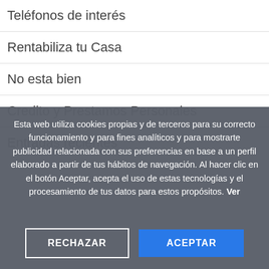Teléfonos de interés
Rentabiliza tu Casa
No esta bien
Credito y Prestamos Personales
Entradas recientes
Esta web utiliza cookies propias y de terceros para su correcto funcionamiento y para fines analíticos y para mostrarte publicidad relacionada con sus preferencias en base a un perfil elaborado a partir de tus hábitos de navegación. Al hacer clic en el botón Aceptar, acepta el uso de estas tecnologías y el procesamiento de tus datos para estos propósitos. Ver
RECHAZAR
ACEPTAR